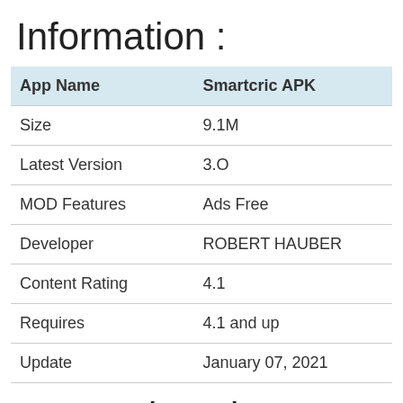Information :
| App Name | Smartcric APK |
| --- | --- |
| Size | 9.1M |
| Latest Version | 3.O |
| MOD Features | Ads Free |
| Developer | ROBERT HAUBER |
| Content Rating | 4.1 |
| Requires | 4.1 and up |
| Update | January 07, 2021 |
Smartcric Apk